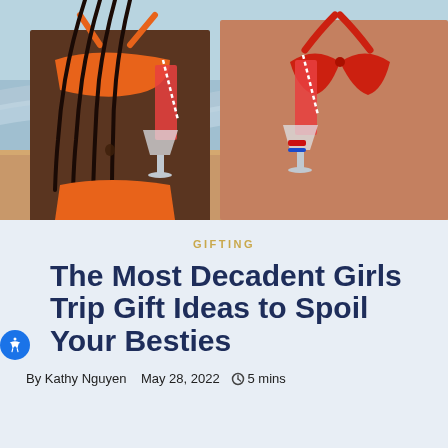[Figure (photo): Two women in bikinis at the beach holding red cocktail drinks. One wears an orange bikini with braids, the other wears a red bikini. Ocean and sandy beach visible in background.]
GIFTING
The Most Decadent Girls Trip Gift Ideas to Spoil Your Besties
By Kathy Nguyen   May 28, 2022   ⊙ 5 mins